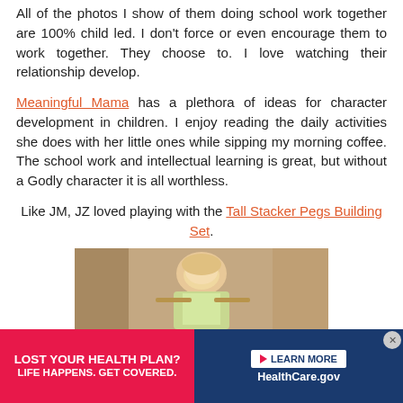All of the photos I show of them doing school work together are 100% child led.  I don't force or even encourage them to work together.  They choose to.  I love watching their relationship develop.
Meaningful Mama has a plethora of ideas for character development in children.  I enjoy reading the daily activities she does with her little ones while sipping my morning coffee.  The school work and intellectual learning is great, but without a Godly character it is all worthless.
Like JM, JZ loved playing with the Tall Stacker Pegs Building Set.
[Figure (photo): A young child with blonde hair leaning over a table, appearing to play or work with objects, photographed from above/side angle.]
[Figure (other): Advertisement banner: 'LOST YOUR HEALTH PLAN? LIFE HAPPENS. GET COVERED.' with a 'LEARN MORE' button linking to HealthCare.gov]